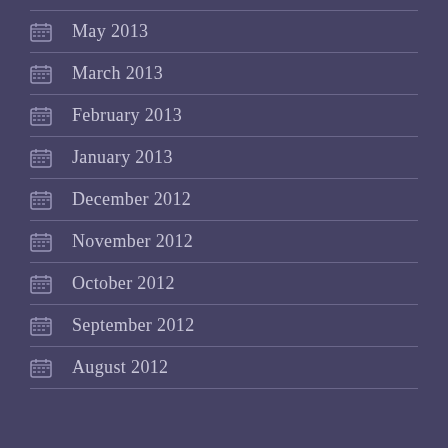May 2013
March 2013
February 2013
January 2013
December 2012
November 2012
October 2012
September 2012
August 2012